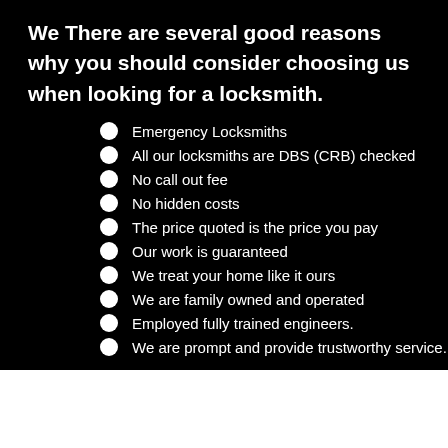We There are several good reasons why you should consider choosing us when looking for a locksmith.
Emergency Locksmiths
All our locksmiths are DBS (CRB) checked
No call out fee
No hidden costs
The price quoted is the price you pay
Our work is guaranteed
We treat your home like it ours
We are family owned and operated
Employed fully trained engineers.
We are prompt and provide trustworthy service.
SATISFACTION GUARANTEED!!! Our